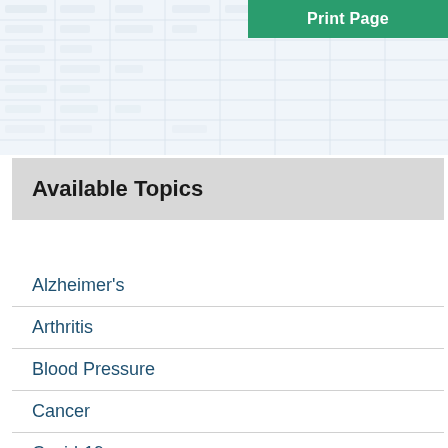Print Page
Available Topics
Alzheimer's
Arthritis
Blood Pressure
Cancer
Covid-19
Diabetes